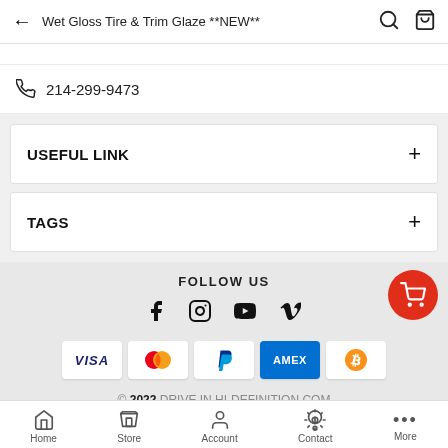Wet Gloss Tire & Trim Glaze **NEW**
214-299-9473
USEFUL LINK
TAGS
FOLLOW US
[Figure (infographic): Social media icons: Facebook, Instagram, YouTube, Vimeo]
[Figure (infographic): Payment method icons: VISA, Mastercard, PayPal, American Express, Bitcoin]
© 2022 DRIVE IN HI-DEFINITION.COM
Home Store Account Contact More